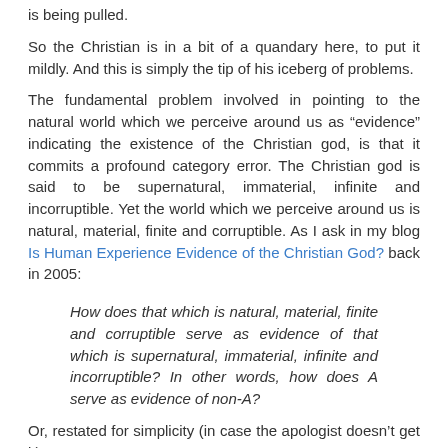is being pulled.
So the Christian is in a bit of a quandary here, to put it mildly. And this is simply the tip of his iceberg of problems.
The fundamental problem involved in pointing to the natural world which we perceive around us as “evidence” indicating the existence of the Christian god, is that it commits a profound category error. The Christian god is said to be supernatural, immaterial, infinite and incorruptible. Yet the world which we perceive around us is natural, material, finite and corruptible. As I ask in my blog Is Human Experience Evidence of the Christian God? back in 2005:
How does that which is natural, material, finite and corruptible serve as evidence of that which is supernatural, immaterial, infinite and incorruptible? In other words, how does A serve as evidence of non-A?
Or, restated for simplicity (in case the apologist doesn’t get it):